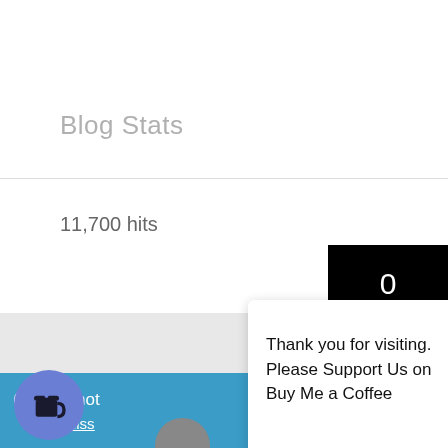Blog Stats
11,700 hits
0
ℹ Whynot
Dismiss
Thank you for visiting. Please Support Us on Buy Me a Coffee
[Figure (screenshot): Shopping cart icon with badge showing 0]
[Figure (logo): Buy Me a Coffee circular button with coffee cup icon]